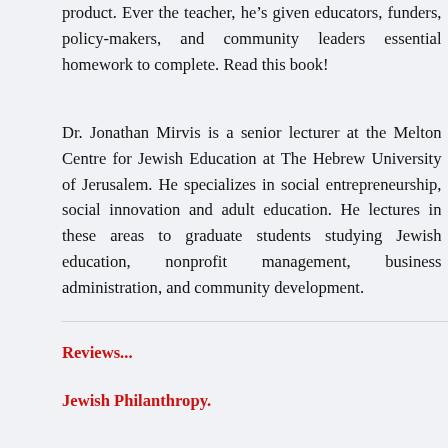product. Ever the teacher, he’s given educators, funders, policy-makers, and community leaders essential homework to complete. Read this book!
Dr. Jonathan Mirvis is a senior lecturer at the Melton Centre for Jewish Education at The Hebrew University of Jerusalem. He specializes in social entrepreneurship, social innovation and adult education. He lectures in these areas to graduate students studying Jewish education, nonprofit management, business administration, and community development.
Reviews...
Jewish Philanthropy.